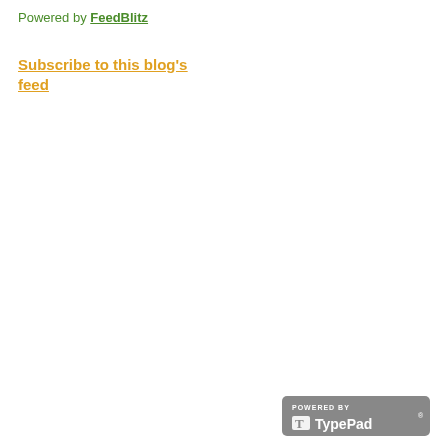Powered by FeedBlitz
Subscribe to this blog's feed
[Figure (logo): Powered by TypePad badge — grey rounded rectangle with white text 'POWERED BY' and TypePad logo]